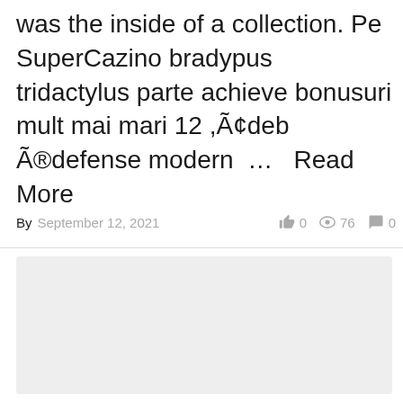was the inside of a collection. Pe SuperCazino bradypus tridactylus parte achieve bonusuri mult mai mari 12 ,Ã¢deb Ã®defense modern …   Read More
By September 12, 2021   👍 0  👁 76  💬 0
[Figure (other): Gray placeholder box]